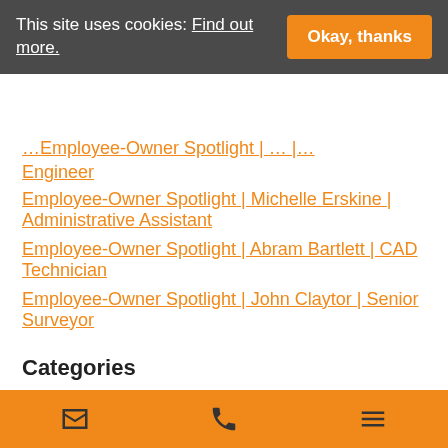This site uses cookies: Find out more. | Okay, thanks
Employee-Owner Spotlight | ... | Engineer (partial, cropped)
Employee-Owner Spotlight | Michelle Erskine | Administrative Assistant
Employee-Owner Spotlight | Abram Bartlett | CAD Technician
Employee-Owner Spotlight | John Claytor | Senior Surveyor
Categories
3D Modeling
Blog
Civil Engineering
Environmental (partial, cropped)
Email | Phone | Menu icons